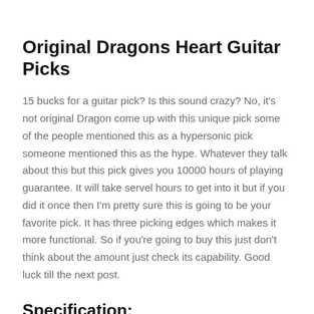Original Dragons Heart Guitar Picks
15 bucks for a guitar pick? Is this sound crazy? No, it's not original Dragon come up with this unique pick some of the people mentioned this as a hypersonic pick someone mentioned this as the hype. Whatever they talk about this but this pick gives you 10000 hours of playing guarantee. It will take servel hours to get into it but if you did it once then I'm pretty sure this is going to be your favorite pick. It has three picking edges which makes it more functional. So if you're going to buy this just don't think about the amount just check its capability. Good luck till the next post.
Specification: